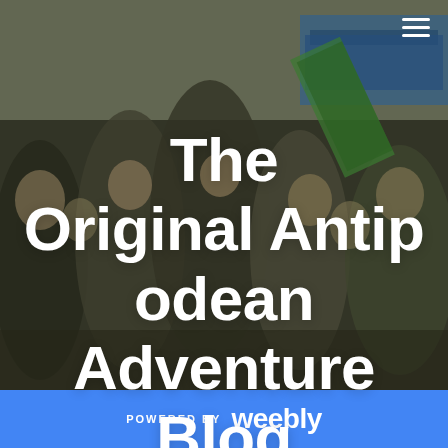[Figure (photo): A street photograph showing a crowd of children and young people in Pakistan, with a 'PAK HERO MOTORCYCLE' sign visible in the background. The group is posed energetically on a city street.]
The Original Antipodean Adventure Blog
POWERED BY weebly